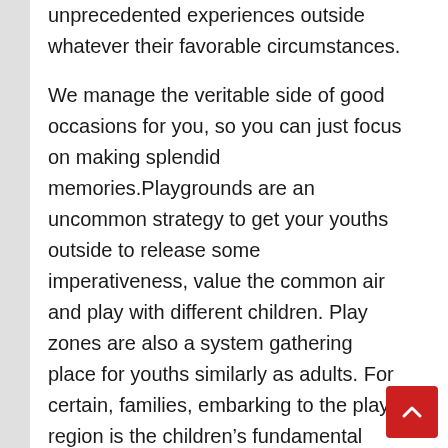unprecedented experiences outside whatever their favorable circumstances.
We manage the veritable side of good occasions for you, so you can just focus on making splendid memories.Playgrounds are an uncommon strategy to get your youths outside to release some imperativeness, value the common air and play with different children. Play zones are also a system gathering place for youths similarly as adults. For certain, families, embarking to the play region is the children's fundamental sales.  Playing is essential to your youth's new development and play zones offer an arrangement of equipment, for instance, swings, slides and play area gear that your child can use to create and develop